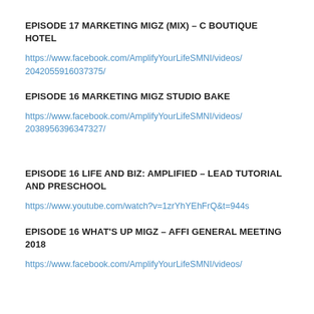EPISODE 17 MARKETING MIGZ (MIX) – C BOUTIQUE HOTEL
https://www.facebook.com/AmplifyYourLifeSMNI/videos/2042055916037375/
EPISODE 16 MARKETING MIGZ STUDIO BAKE
https://www.facebook.com/AmplifyYourLifeSMNI/videos/2038956396347327/
EPISODE 16 LIFE AND BIZ: AMPLIFIED – LEAD TUTORIAL AND PRESCHOOL
https://www.youtube.com/watch?v=1zrYhYEhFrQ&t=944s
EPISODE 16 WHAT'S UP MIGZ – AFFI GENERAL MEETING 2018
https://www.facebook.com/AmplifyYourLifeSMNI/videos/